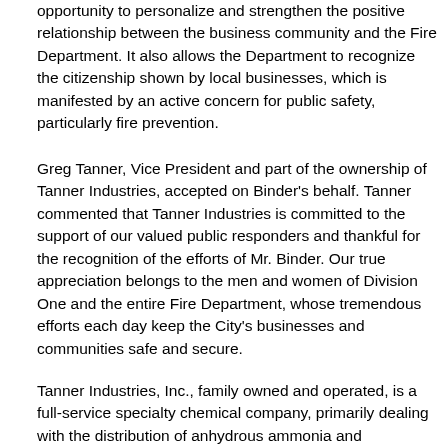opportunity to personalize and strengthen the positive relationship between the business community and the Fire Department. It also allows the Department to recognize the citizenship shown by local businesses, which is manifested by an active concern for public safety, particularly fire prevention.
Greg Tanner, Vice President and part of the ownership of Tanner Industries, accepted on Binder's behalf. Tanner commented that Tanner Industries is committed to the support of our valued public responders and thankful for the recognition of the efforts of Mr. Binder. Our true appreciation belongs to the men and women of Division One and the entire Fire Department, whose tremendous efforts each day keep the City's businesses and communities safe and secure.
Tanner Industries, Inc., family owned and operated, is a full-service specialty chemical company, primarily dealing with the distribution of anhydrous ammonia and ammonium hydroxide products and services. It operates a facility in